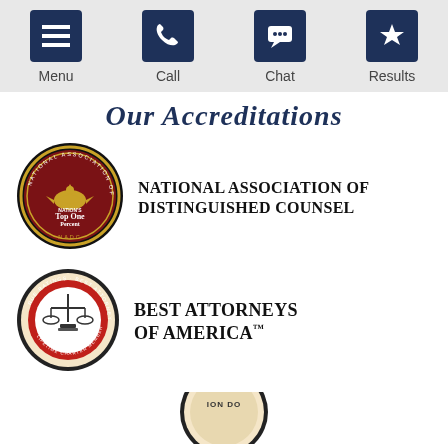Menu | Call | Chat | Results
Our Accreditations
[Figure (logo): National Association of Distinguished Counsel (NADC) badge — Nation's Top One Percent, circular seal with eagle]
National Association of Distinguished Counsel
[Figure (logo): Best Attorneys of America badge — rue ratings, circular seal with scales of justice, lifetime charter member]
Best Attorneys of America™
[Figure (logo): Partial third accreditation badge, circular seal, partially visible at bottom of page]